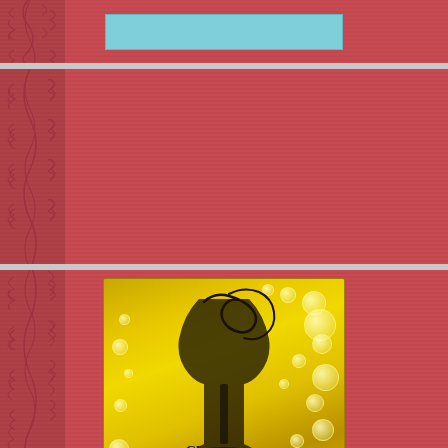[Figure (other): Red textured panel with floral/leaf motif on left side, containing a cyan/teal horizontal bar element at top]
[Figure (other): Large red textured panel with dark floral/leaf motif along left edge, mostly empty red background]
[Figure (logo): Champagne Formats logo on golden/yellow bubbly background with champagne glass illustration. Text reads: Champagne Formats. When you want the very best.... ebook and paperback formatting]